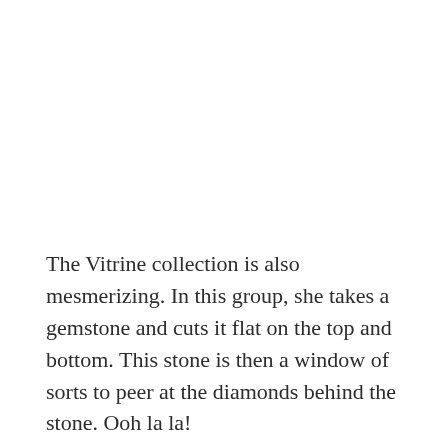The Vitrine collection is also mesmerizing. In this group, she takes a gemstone and cuts it flat on the top and bottom. This stone is then a window of sorts to peer at the diamonds behind the stone. Ooh la la!